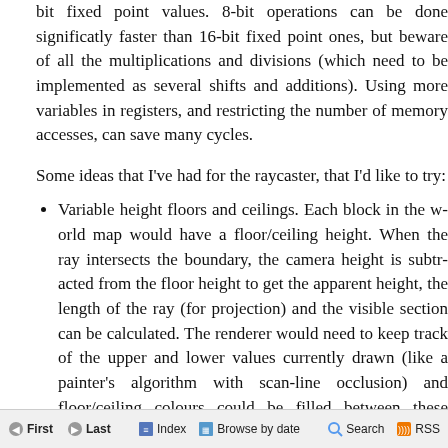bit fixed point values. 8-bit operations can be done significa multiplications and divisions (which need to be implement variables in registers, and restricting the number of memo cycles.
Some ideas that I've had for the raycaster, that I'd like to try
Variable height floors and ceilings. Each block in the w ray intersects the boundary, the camera height is subt length of the ray (for projection) and the visible sectio track of the upper and lower values currently drawn occlusion) and floor/ceiling colours could be filled betwe
No texturing: wall faces and floors/ceilings would be combined with lighting effects (flickering, shading), wou - and would be faster!
Ray-transforming blocks. For example, you could have contain a special block that would, when hit, tell the ra This could be used to stitch together large worlds from reduce level pointers to 8-bit values).
Adjusting floors and ceilings for lifts or crushing ceilings
First   Last   Index   Browse by date   Search   RSS